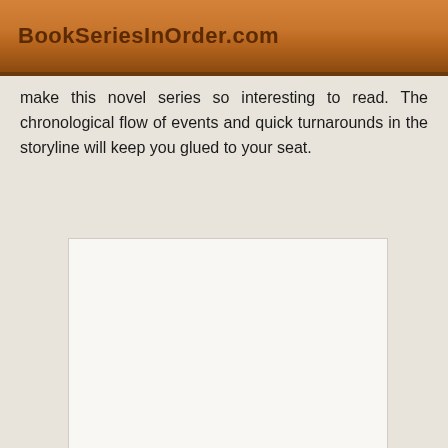BookSeriesInOrder.com
make this novel series so interesting to read. The chronological flow of events and quick turnarounds in the storyline will keep you glued to your seat.
[Figure (other): White rectangular content area, likely a book cover image placeholder]